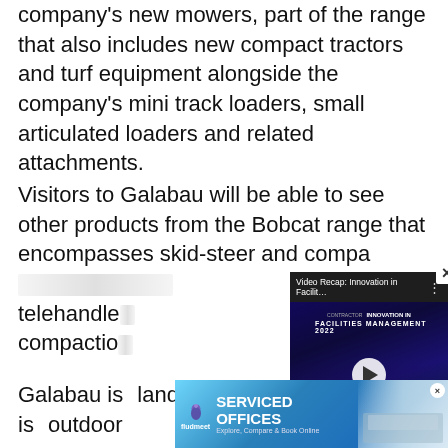company's new mowers, part of the range that also includes new compact tractors and turf equipment alongside the company's mini track loaders, small articulated loaders and related attachments.
Visitors to Galabau will be able to see other products from the Bobcat range that encompasses skid-steer and compact track loaders, mini excavators, telehandlers, [obscured by video overlay] compaction [obscured]
[Figure (screenshot): Video overlay popup showing 'Video Recap: Innovation in Facilit...' with a crowd photo thumbnail and play button, with a close X button in top right]
Galabau is [obscured] landscaping [obscured] since 1974 [obscured] 2022 is [obscured] outdoor [obscured]
[Figure (screenshot): Advertisement banner for 'SERVICED OFFICES' by fludmeet with tagline 'Explore, Compare & Book Online', blue gradient background with interior office photo on right, close X button]